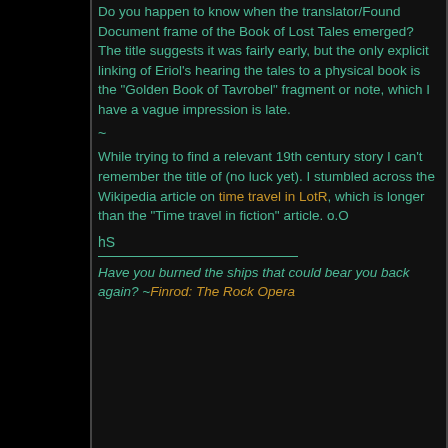Do you happen to know when the translator/Found Document frame of the Book of Lost Tales emerged? The title suggests it was fairly early, but the only explicit linking of Eriol's hearing the tales to a physical book is the "Golden Book of Tavrobel" fragment or note, which I have a vague impression is late.
~
While trying to find a relevant 19th century story I can't remember the title of (no luck yet). I stumbled across the Wikipedia article on time travel in LotR, which is longer than the "Time travel in fiction" article. o.O
hS
Have you burned the ships that could bear you back again? ~Finrod: The Rock Opera